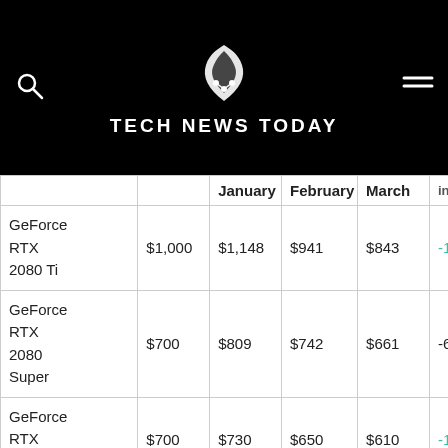TECH NEWS TODAY
|  |  | January | February | March | inflation | Ma |
| --- | --- | --- | --- | --- | --- | --- |
| GeForce RTX 2080 Ti | $1,000 | $1,148 | $941 | $843 | -16% | -10 |
| GeForce RTX 2080 Super | $700 | $809 | $742 | $661 | -6% | -11 |
| GeForce RTX 2080 | $700 | $730 | $650 | $610 | -13% | -6% |
| GeForce RTX 2070 Super | $500 | $726 | $625 | $566 | 13% | -9% |